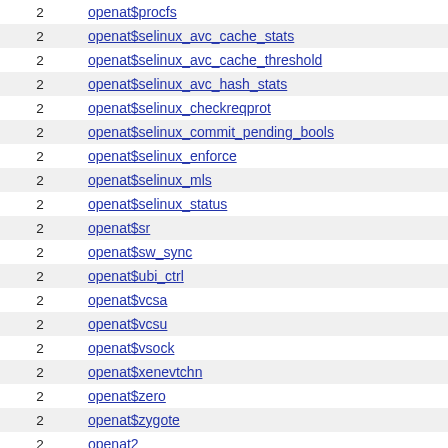|  |  |
| --- | --- |
| 2 | openat$procfs |
| 2 | openat$selinux_avc_cache_stats |
| 2 | openat$selinux_avc_cache_threshold |
| 2 | openat$selinux_avc_hash_stats |
| 2 | openat$selinux_checkreqprot |
| 2 | openat$selinux_commit_pending_bools |
| 2 | openat$selinux_enforce |
| 2 | openat$selinux_mls |
| 2 | openat$selinux_status |
| 2 | openat$sr |
| 2 | openat$sw_sync |
| 2 | openat$ubi_ctrl |
| 2 | openat$vcsa |
| 2 | openat$vcsu |
| 2 | openat$vsock |
| 2 | openat$xenevtchn |
| 2 | openat$zero |
| 2 | openat$zygote |
| 2 | openat2 |
| 2 | recvmmsg$unix |